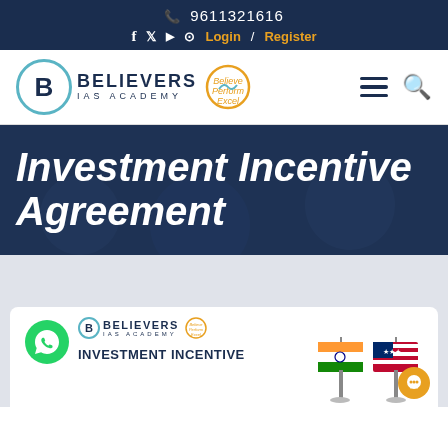9611321616
f  Twitter  YouTube  Instagram  Login / Register
[Figure (logo): Believers IAS Academy logo with handshake icon and tagline Believe Perform Excel]
Investment Incentive Agreement
[Figure (illustration): Card with WhatsApp icon, Believers IAS Academy logo, flags of India and USA, and text INVESTMENT INCENTIVE]